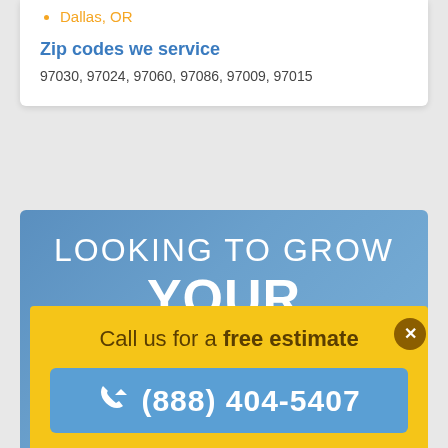Dallas, OR
Zip codes we service
97030, 97024, 97060, 97086, 97009, 97015
[Figure (infographic): Blue gradient banner with text 'LOOKING TO GROW YOUR BUSINESS?' in white and orange uppercase letters]
Call us for a free estimate
(888) 404-5407